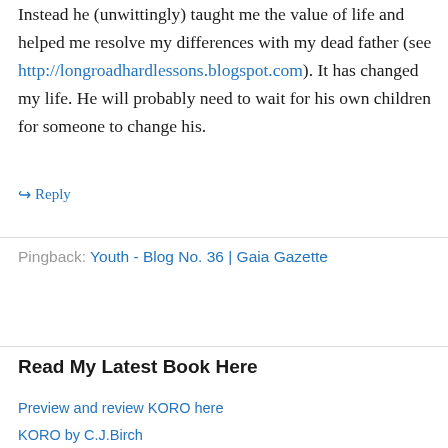Instead he (unwittingly) taught me the value of life and helped me resolve my differences with my dead father (see http://longroadhardlessons.blogspot.com). It has changed my life. He will probably need to wait for his own children for someone to change his.
↳ Reply
Pingback: Youth - Blog No. 36 | Gaia Gazette
Read My Latest Book Here
Preview and review KORO here
KORO by C.J.Birch
Start reading online for free here